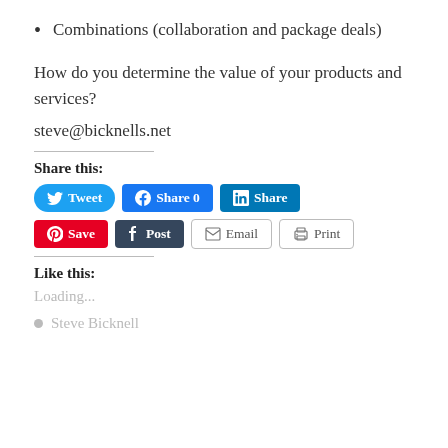Combinations (collaboration and package deals)
How do you determine the value of your products and services?
steve@bicknells.net
Share this:
[Figure (infographic): Social share buttons: Tweet (Twitter), Share 0 (Facebook), Share (LinkedIn), Save (Pinterest), Post (Tumblr), Email, Print]
Like this:
Loading...
Steve Bicknell